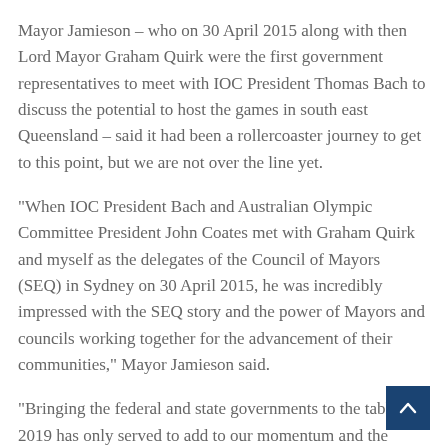Mayor Jamieson – who on 30 April 2015 along with then Lord Mayor Graham Quirk were the first government representatives to meet with IOC President Thomas Bach to discuss the potential to host the games in south east Queensland – said it had been a rollercoaster journey to get to this point, but we are not over the line yet.
“When IOC President Bach and Australian Olympic Committee President John Coates met with Graham Quirk and myself as the delegates of the Council of Mayors (SEQ) in Sydney on 30 April 2015, he was incredibly impressed with the SEQ story and the power of Mayors and councils working together for the advancement of their communities,” Mayor Jamieson said.
“Bringing the federal and state governments to the table in 2019 has only served to add to our momentum and the inherent value of what can be realised when the three tiers of government work together productively is what has helped achieve the milestone we have reached today.